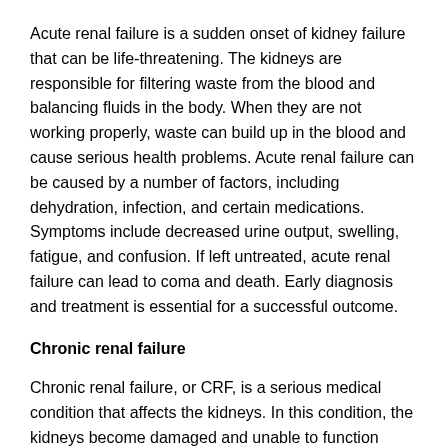Acute renal failure is a sudden onset of kidney failure that can be life-threatening. The kidneys are responsible for filtering waste from the blood and balancing fluids in the body. When they are not working properly, waste can build up in the blood and cause serious health problems. Acute renal failure can be caused by a number of factors, including dehydration, infection, and certain medications. Symptoms include decreased urine output, swelling, fatigue, and confusion. If left untreated, acute renal failure can lead to coma and death. Early diagnosis and treatment is essential for a successful outcome.
Chronic renal failure
Chronic renal failure, or CRF, is a serious medical condition that affects the kidneys. In this condition, the kidneys become damaged and unable to function properly. As a result, toxins can build up in the body, causing a variety of symptoms. Some of these symptoms may include fatigue, bloating and swelling, nausea, diarrhea or constipation, poor appetite, changes in urination frequency or color, and anemia. Diagnosing CRF involves examining several factors like blood test results and overall medical history. Treatment for the condition typically involves managing any associated symptoms with medication or dietary changes. In some cases, dialysis may also be necessary to support patients with severe